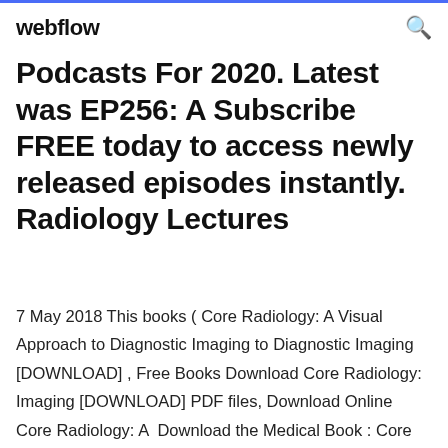webflow
Podcasts For 2020. Latest was EP256: A Subscribe FREE today to access newly released episodes instantly. Radiology Lectures
7 May 2018 This books ( Core Radiology: A Visual Approach to Diagnostic Imaging to Diagnostic Imaging [DOWNLOAD] , Free Books Download Core Radiology: Imaging [DOWNLOAD] PDF files, Download Online Core Radiology: A  Download the Medical Book : Core Radiology A Visual Approach to Diagnostic Imaging PDF For Free. This Website Provides Free Medical Books.. Core Radiology: